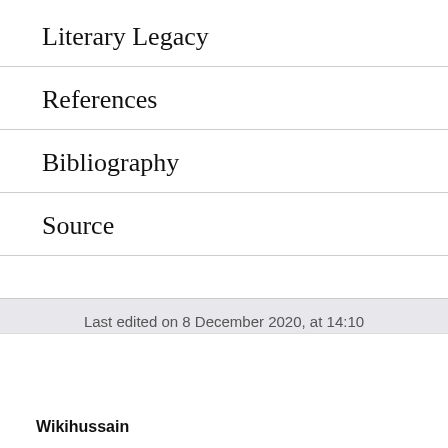Literary Legacy
References
Bibliography
Source
Last edited on 8 December 2020, at 14:10
Wikihussain